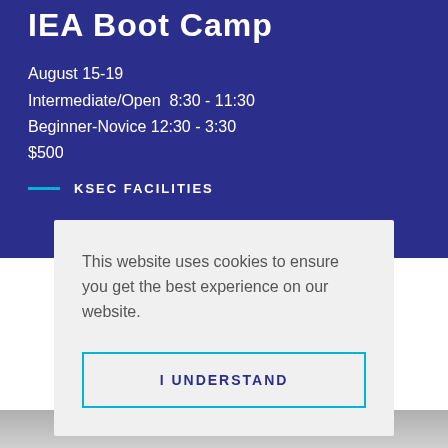IEA Boot Camp
August 15-19
Intermediate/Open  8:30 - 11:30
Beginner-Novice 12:30 - 3:30
$500
KSEC FACILITIES
This website uses cookies to ensure you get the best experience on our website.
I UNDERSTAND
[Figure (photo): Partial photo strip at the bottom of the page, appearing to show a person wearing white/light colored clothing]